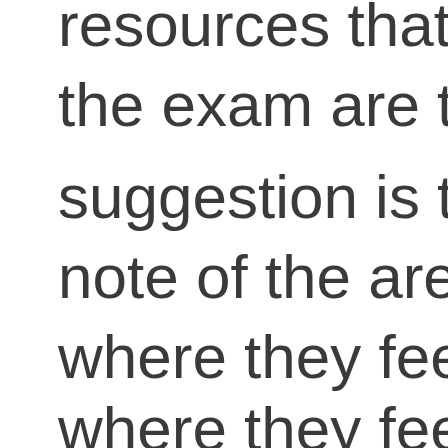resources that woul the exam are to be u suggestion is to have note of the areas of t where they feel conf where they feel unsu focus on the
focus on the